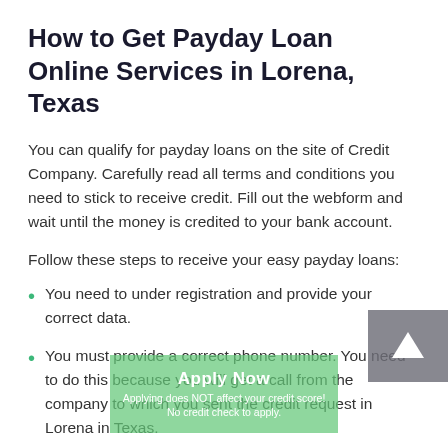How to Get Payday Loan Online Services in Lorena, Texas
You can qualify for payday loans on the site of Credit Company. Carefully read all terms and conditions you need to stick to receive credit. Fill out the webform and wait until the money is credited to your bank account.
Follow these steps to receive your easy payday loans:
You need to under registration and provide your correct data.
You must provide a correct phone number. You need to do this because you will get a call from the company to which you sent the credit request in Lorena in Texas.
Indicate a valid email address. A loan agreement will be sent to it. Check it not to have problems with interest rates and fees for late repayment in the future.